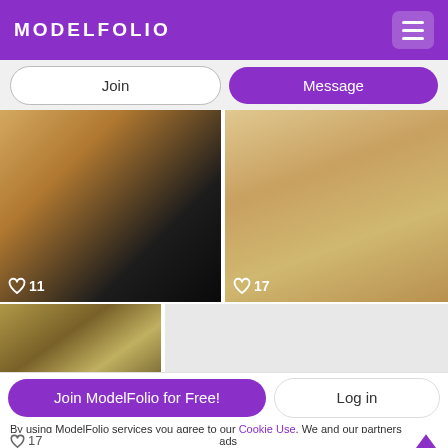MODELFOLIO
Join
Message
[Figure (photo): Close-up of a blonde woman smiling, wearing a black top. Heart icon with count 11 overlaid at bottom left.]
[Figure (photo): Photo of a woman's lower body seated on a wooden bed frame, wearing a short dress. Heart icon with count 17 overlaid at bottom left.]
[Figure (photo): Blonde woman in a colorful graffiti setting wearing a collar and holding a whip-like prop.]
Join ModelFolio for Free!
Log in
By using ModelFolio services you agree to our Cookie Use. We and our partners operate globally and use cookies for analytics, personalisation, and ads
17